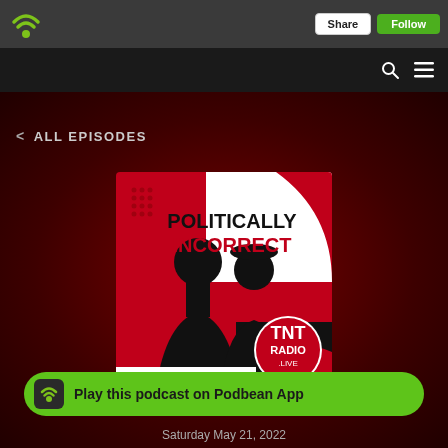[Figure (screenshot): Podbean podcast app interface showing 'Politically Incorrect' podcast on TNT Radio Live]
ALL EPISODES
[Figure (illustration): Podcast cover art: 'POLITICALLY INCORRECT' text with two silhouetted figures, red/black/white design, TNT Radio Live branding, 'LISTEN ON TNTRADIO.LIVE']
Play this podcast on Podbean App
Saturday May 21, 2022